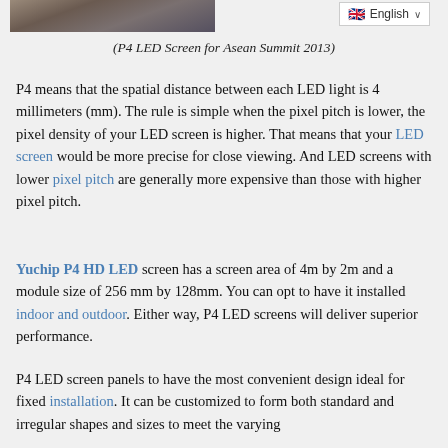[Figure (photo): Photo of P4 LED Screen installation at Asean Summit 2013]
(P4 LED Screen for Asean Summit 2013)
P4 means that the spatial distance between each LED light is 4 millimeters (mm). The rule is simple when the pixel pitch is lower, the pixel density of your LED screen is higher. That means that your LED screen would be more precise for close viewing. And LED screens with lower pixel pitch are generally more expensive than those with higher pixel pitch.
Yuchip P4 HD LED screen has a screen area of 4m by 2m and a module size of 256 mm by 128mm. You can opt to have it installed indoor and outdoor. Either way, P4 LED screens will deliver superior performance.
P4 LED screen panels to have the most convenient design ideal for fixed installation. It can be customized to form both standard and irregular shapes and sizes to meet the varying